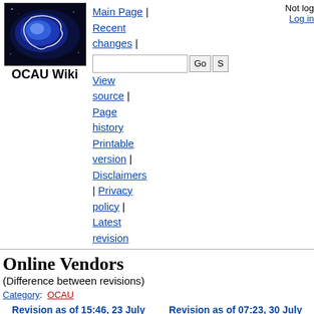[Figure (logo): OCAU Wiki logo with Australian map silhouette on dark background]
Main Page | Recent changes | View source | Page history
Printable version | Disclaimers | Privacy policy | Latest revision
Not logged in. Log in
Online Vendors
(Difference between revisions)
Category: OCAU
| Revision as of 15:46, 23 July 2009 (view source) | Revision as of 07:23, 30 July 2009 (view source) |
| --- | --- |
| Iroquois (Talk | contribs) | Owenb (Talk | contribs) |
| (→Queensland) | m (Change Online Shop to Retail Store for Builin...) |